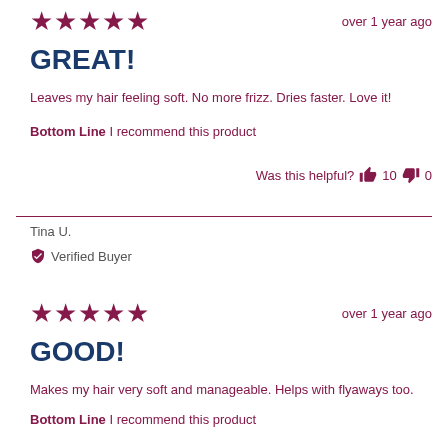★★★★★
over 1 year ago
GREAT!
Leaves my hair feeling soft. No more frizz. Dries faster. Love it!
Bottom Line  I recommend this product
Was this helpful?  👍 10  👎 0
Tina U.
✔ Verified Buyer
★★★★★
over 1 year ago
GOOD!
Makes my hair very soft and manageable. Helps with flyaways too.
Bottom Line  I recommend this product